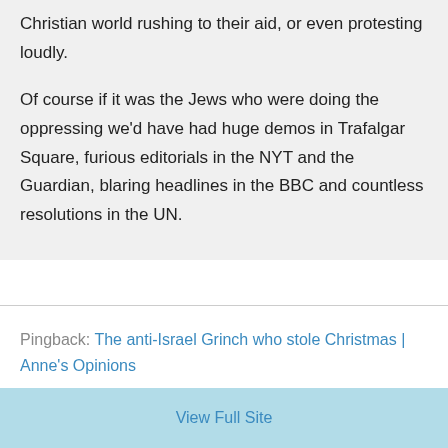Christian world rushing to their aid, or even protesting loudly.

Of course if it was the Jews who were doing the oppressing we'd have had huge demos in Trafalgar Square, furious editorials in the NYT and the Guardian, blaring headlines in the BBC and countless resolutions in the UN.
Pingback: The anti-Israel Grinch who stole Christmas | Anne's Opinions
View Full Site